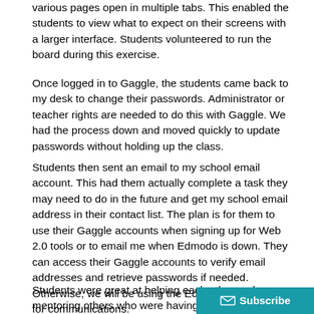various pages open in multiple tabs.  This enabled the students to view what to expect on their screens with a larger interface.  Students volunteered to run the board during this exercise.
Once logged in to Gaggle, the students came back to my desk to change their passwords.  Administrator or teacher rights are needed to do this with Gaggle.  We had the process down and moved quickly to update passwords without holding up the class.
Students then sent an email to my school email account.  This had them actually complete a task they may need to do in the future and get my school email address in their contact list.  The plan is for them to use their Gaggle accounts when signing up for Web 2.0 tools or to email me when Edmodo is down.  They can access their Gaggle accounts to verify email addresses and retrieve passwords if needed.  Otherwise, we will be using the Edmodo classroom for communications.
Students were great at helping each other and mentoring others who were having technical difficulties.  Their ability willingness to help out freed me up to handle issu...